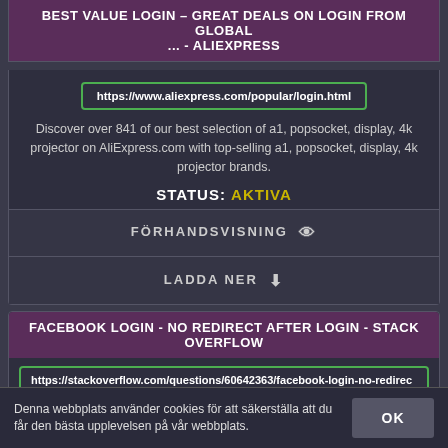BEST VALUE LOGIN – GREAT DEALS ON LOGIN FROM GLOBAL ... - ALIEXPRESS
https://www.aliexpress.com/popular/login.html
Discover over 841 of our best selection of a1, popsocket, display, 4k projector on AliExpress.com with top-selling a1, popsocket, display, 4k projector brands.
STATUS: AKTIVA
FÖRHANDSVISNING 👁
LADDA NER ⬇
FACEBOOK LOGIN - NO REDIRECT AFTER LOGIN - STACK OVERFLOW
https://stackoverflow.com/questions/60642363/facebook-login-no-redirec
Denna webbplats använder cookies för att säkerställa att du får den bästa upplevelsen på vår webbplats.